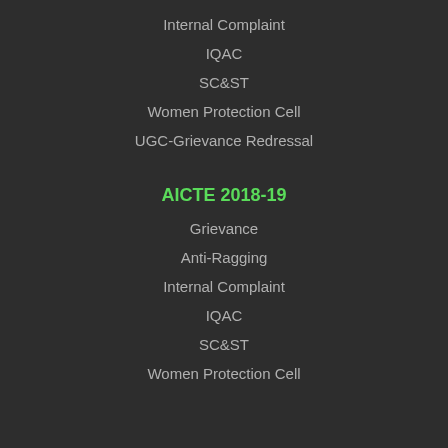Internal Complaint
IQAC
SC&ST
Women Protection Cell
UGC-Grievance Redressal
AICTE 2018-19
Grievance
Anti-Ragging
Internal Complaint
IQAC
SC&ST
Women Protection Cell